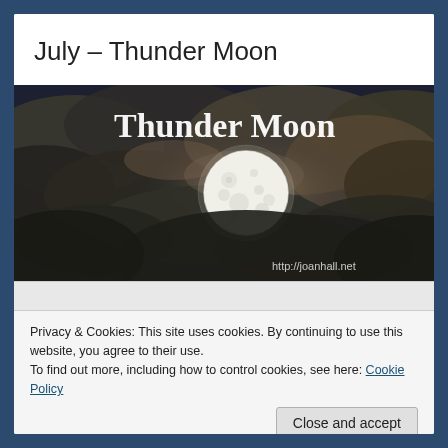July – Thunder Moon
[Figure (photo): Night sky photo with dramatic clouds and a full moon, white text 'Thunder Moon' in serif font, watermark 'http://joanhall.net' in lower right]
Privacy & Cookies: This site uses cookies. By continuing to use this website, you agree to their use.
To find out more, including how to control cookies, see here: Cookie Policy
Close and accept
Snow Moon (February)The Worm Moon (March)The